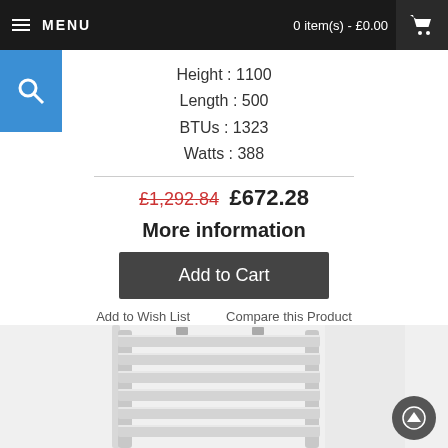MENU   0 item(s) - £0.00
Height : 1100
Length : 500
BTUs : 1323
Watts : 388
£1,292.84  £672.28
More information
Add to Cart
Add to Wish List   Compare this Product
[Figure (photo): A towel radiator / heated towel rail with horizontal bars, silver/chrome finish, wall-mounted, photographed against a light wall background.]